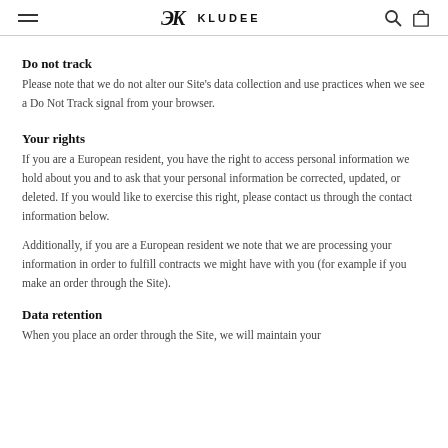KLUDEE
Do not track
Please note that we do not alter our Site's data collection and use practices when we see a Do Not Track signal from your browser.
Your rights
If you are a European resident, you have the right to access personal information we hold about you and to ask that your personal information be corrected, updated, or deleted. If you would like to exercise this right, please contact us through the contact information below.
Additionally, if you are a European resident we note that we are processing your information in order to fulfill contracts we might have with you (for example if you make an order through the Site).
Data retention
When you place an order through the Site, we will maintain your